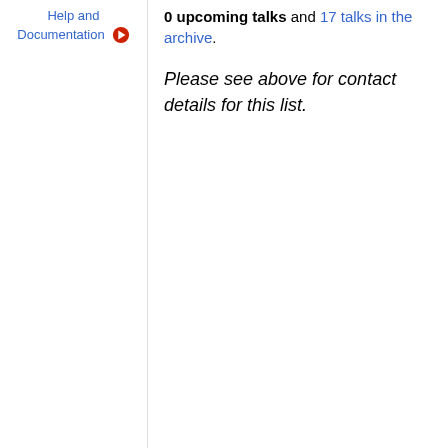Help and Documentation →
0 upcoming talks and 17 talks in the archive.
Please see above for contact details for this list.